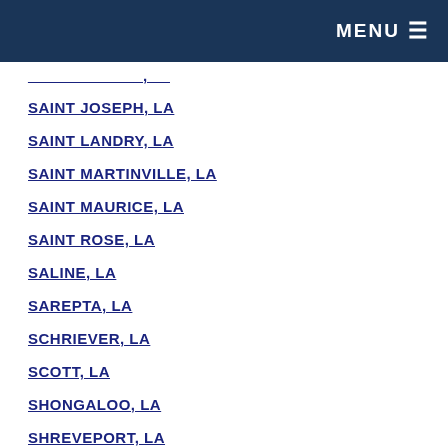MENU
[partial item, cut off at top]
SAINT JOSEPH, LA
SAINT LANDRY, LA
SAINT MARTINVILLE, LA
SAINT MAURICE, LA
SAINT ROSE, LA
SALINE, LA
SAREPTA, LA
SCHRIEVER, LA
SCOTT, LA
SHONGALOO, LA
SHREVEPORT, LA
SIBLEY, LA
SICILY ISLAND, LA
SIEPER, LA
SIKES, LA